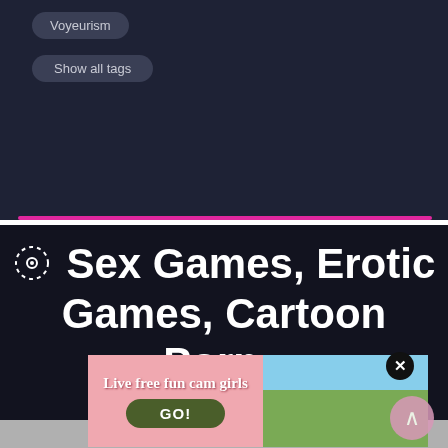Voyeurism
Show all tags
🎯 Sex Games, Erotic Games, Cartoon Porn -
[Figure (infographic): Advertisement banner with pink background reading 'Live free fun cam girls' with a GO! button and an image of a woman outdoors. Has a close X button and a scroll-up arrow button.]